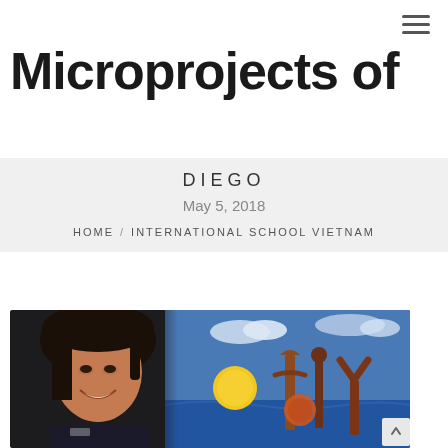≡ (hamburger menu)
Microprojects of
DIEGO
May 5, 2018
HOME / INTERNATIONAL SCHOOL VIETNAM
[Figure (photo): A smiling woman of Asian appearance holding up a colorful painting depicting a sun, sea, and abstract figures against a blue background]